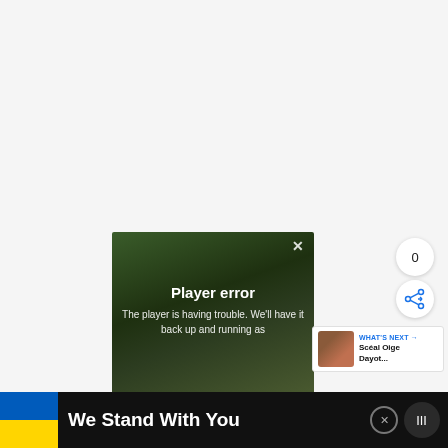[Figure (screenshot): Large blank/light grey area representing the top portion of a webpage]
[Figure (screenshot): Video player overlay showing 'Player error' message. Text reads: 'Player error' and 'The player is having trouble. We'll have it back up and running as'. Has a dark forest background and a close X button.]
0
[Figure (infographic): Circular share icon button with a share/plus symbol]
WHAT'S NEXT → Scéal Oige Dayot...
We Stand With You
[Figure (illustration): Ukrainian flag (blue and yellow) displayed in the bottom banner]